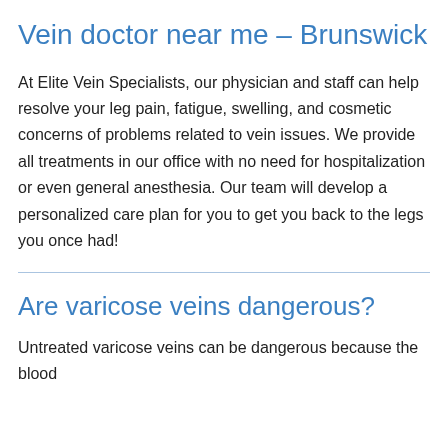Vein doctor near me – Brunswick
At Elite Vein Specialists, our physician and staff can help resolve your leg pain, fatigue, swelling, and cosmetic concerns of problems related to vein issues. We provide all treatments in our office with no need for hospitalization or even general anesthesia. Our team will develop a personalized care plan for you to get you back to the legs you once had!
Are varicose veins dangerous?
Untreated varicose veins can be dangerous because the blood